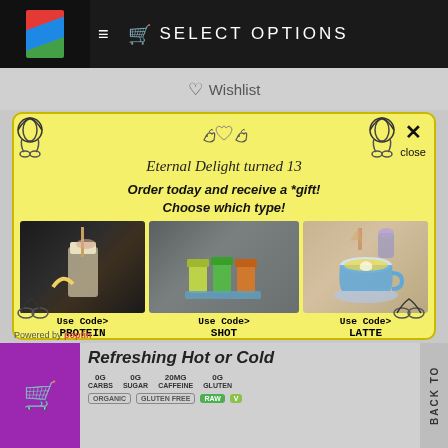SELECT OPTIONS
Wishlist
Eternal Delight turned 13
Order today and receive a *gift! Choose which type!
[Figure (photo): A milkshake drink with a straw and banana, dark background]
Use Code> PROTEIN
[Figure (photo): Three colorful juice shot glasses on a wooden surface]
Use Code> SHOT
*randomly picked when order is being processed
[Figure (photo): A blue cup of latte art coffee with lavender in background]
Use Code> LATTE
Refreshing Hot or Cold
0G CARBS  0G SUGAR  20MG CAFFEINE  0G GLUTEN
ORGANIC  GLUTEN FREE  RAW  VEGAN